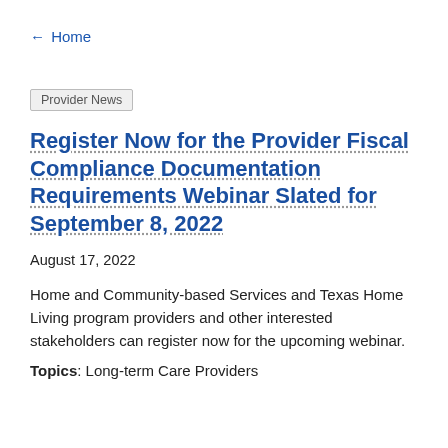← Home
Provider News
Register Now for the Provider Fiscal Compliance Documentation Requirements Webinar Slated for September 8, 2022
August 17, 2022
Home and Community-based Services and Texas Home Living program providers and other interested stakeholders can register now for the upcoming webinar.
Topics: Long-term Care Providers